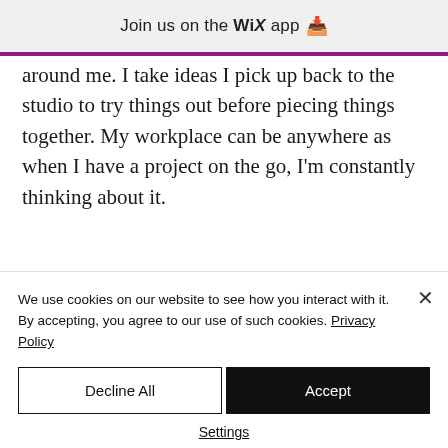Join us on the WiX app ↓
around me. I take ideas I pick up back to the studio to try things out before piecing things together. My workplace can be anywhere as when I have a project on the go, I'm constantly thinking about it.
"I believe that dance is not
We use cookies on our website to see how you interact with it. By accepting, you agree to our use of such cookies. Privacy Policy
Decline All
Accept
Settings